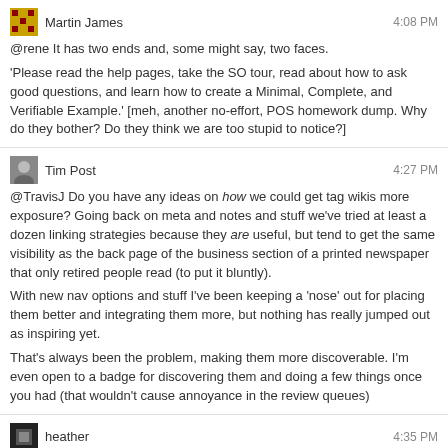Martin James 4:08 PM
@rene It has two ends and, some might say, two faces.
'Please read the help pages, take the SO tour, read about how to ask good questions, and learn how to create a Minimal, Complete, and Verifiable Example.' [meh, another no-effort, POS homework dump. Why do they bother? Do they think we are too stupid to notice?]
Tim Post 4:27 PM
@TravisJ Do you have any ideas on how we could get tag wikis more exposure? Going back on meta and notes and stuff we've tried at least a dozen linking strategies because they are useful, but tend to get the same visibility as the back page of the business section of a printed newspaper that only retired people read (to put it bluntly).
With new nav options and stuff I've been keeping a 'nose' out for placing them better and integrating them more, but nothing has really jumped out as inspiring yet.
That's always been the problem, making them more discoverable. I'm even open to a badge for discovering them and doing a few things once you had (that wouldn't cause annoyance in the review queues)
heather 4:35 PM
@TimPost ...stupid idea of the day: when you ask your first question in a tag, you get to review the tag wiki to make sure you know how to use the tag if you're below a certain rep level?
as in question ask screen -> press "ask question" -> tag wiki screen pops up for a tag -> confirm use of tag button pressed -> question asked.
that would make them "matter" and get them more exposure...though probably not the kind you're looking for.
Tim Post 4:39 PM
Could do some more deliberate stuff to at least show the excerpt of the info page if it